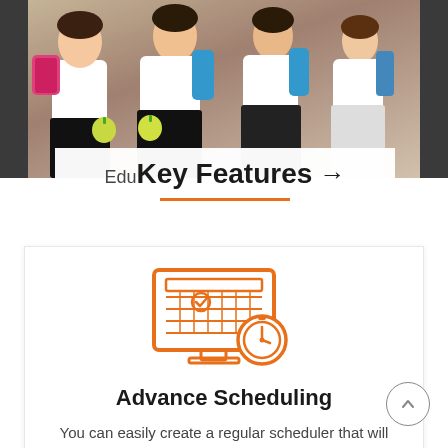[Figure (photo): School children with backpacks and apples walking, photo background]
Key Features →
[Figure (illustration): Orange icon of a monitor/screen displaying a calendar with a checkmark and a stopwatch — advance scheduling icon]
Advance Scheduling
You can easily create a regular scheduler that will play daily and an event based one which will play